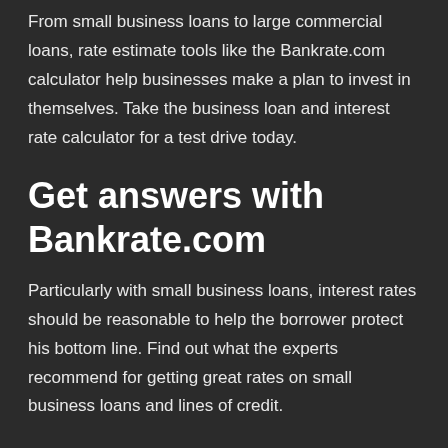From small business loans to large commercial loans, rate estimate tools like the Bankrate.com calculator help businesses make a plan to invest in themselves. Take the business loan and interest rate calculator for a test drive today.
Get answers with Bankrate.com
Particularly with small business loans, interest rates should be reasonable to help the borrower protect his bottom line. Find out what the experts recommend for getting great rates on small business loans and lines of credit.
Compare rates